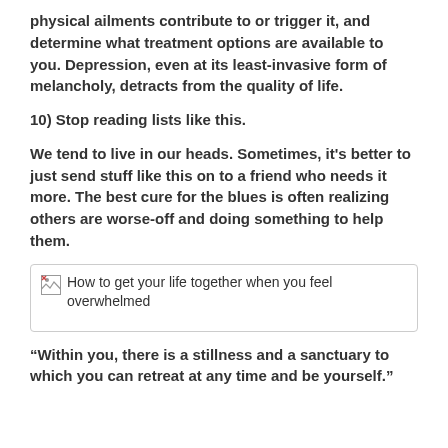physical ailments contribute to or trigger it, and determine what treatment options are available to you. Depression, even at its least-invasive form of melancholy, detracts from the quality of life.
10) Stop reading lists like this.
We tend to live in our heads. Sometimes, it's better to just send stuff like this on to a friend who needs it more. The best cure for the blues is often realizing others are worse-off and doing something to help them.
[Figure (other): Broken image placeholder with alt text: How to get your life together when you feel overwhelmed]
“Within you, there is a stillness and a sanctuary to which you can retreat at any time and be yourself.”